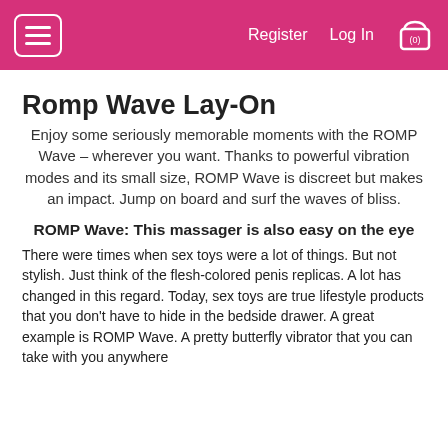Register  Log In  (0)
Romp Wave Lay-On
Enjoy some seriously memorable moments with the ROMP Wave – wherever you want. Thanks to powerful vibration modes and its small size, ROMP Wave is discreet but makes an impact. Jump on board and surf the waves of bliss.
ROMP Wave: This massager is also easy on the eye
There were times when sex toys were a lot of things. But not stylish. Just think of the flesh-colored penis replicas. A lot has changed in this regard. Today, sex toys are true lifestyle products that you don't have to hide in the bedside drawer. A great example is ROMP Wave. A pretty butterfly vibrator that you can take with you anywhere